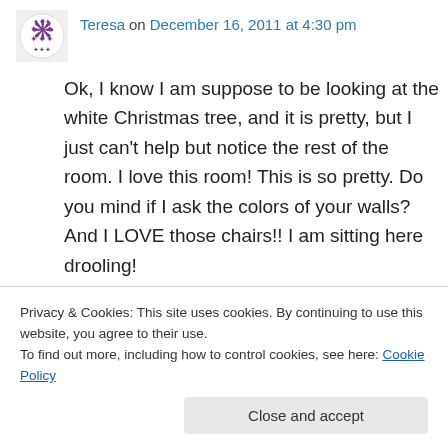Teresa on December 16, 2011 at 4:30 pm
Ok, I know I am suppose to be looking at the white Christmas tree, and it is pretty, but I just can't help but notice the rest of the room. I love this room! This is so pretty. Do you mind if I ask the colors of your walls? And I LOVE those chairs!! I am sitting here drooling!
↳ Reply
Christine @ Stonehouse Living on December 16
Privacy & Cookies: This site uses cookies. By continuing to use this website, you agree to their use.
To find out more, including how to control cookies, see here: Cookie Policy
Close and accept
Love the red & white theme...